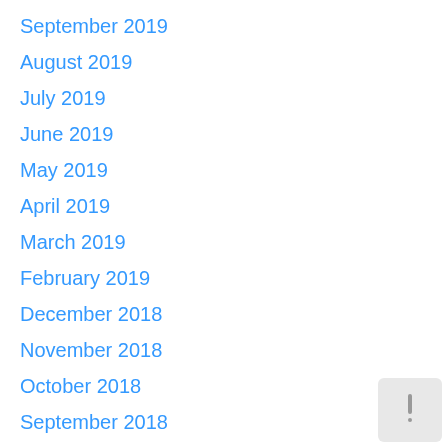September 2019
August 2019
July 2019
June 2019
May 2019
April 2019
March 2019
February 2019
December 2018
November 2018
October 2018
September 2018
August 2018
July 2018
February 2018
December 2017